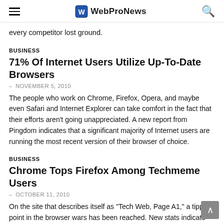WebProNews
every competitor lost ground.
BUSINESS
71% Of Internet Users Utilize Up-To-Date Browsers
– NOVEMBER 5, 2010
The people who work on Chrome, Firefox, Opera, and maybe even Safari and Internet Explorer can take comfort in the fact that their efforts aren't going unappreciated. A new report from Pingdom indicates that a significant majority of Internet users are running the most recent version of their browser of choice.
BUSINESS
Chrome Tops Firefox Among Techmeme Users
– OCTOBER 11, 2010
On the site that describes itself as "Tech Web, Page A1," a tipping point in the browser wars has been reached. New stats indicate that Techmeme